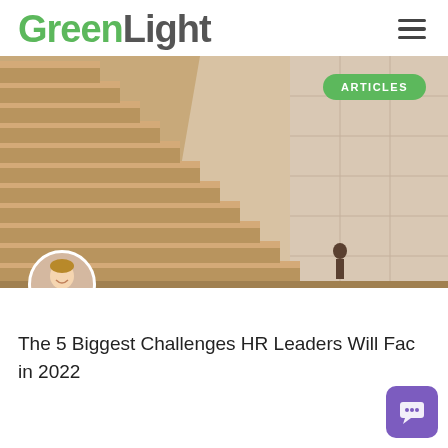GreenLight
[Figure (photo): Wide photograph of large stone staircase steps with a small person standing at the bottom right near the wall. A green 'ARTICLES' badge overlaid top-right. Circular avatar photo of a smiling young man overlaid bottom-left.]
The 5 Biggest Challenges HR Leaders Will Face in 2022